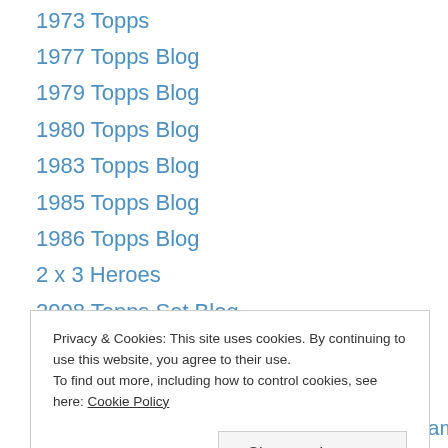1973 Topps
1977 Topps Blog
1979 Topps Blog
1980 Topps Blog
1983 Topps Blog
1985 Topps Blog
1986 Topps Blog
2 x 3 Heroes
2008 Topps Set Blog
2012 Topps Blog
25 Years Of Baseball
57 Hits
60's Baseball Time Machine
A Cardboard Problem
Privacy & Cookies: This site uses cookies. By continuing to use this website, you agree to their use. To find out more, including how to control cookies, see here: Cookie Policy
Andre Dawson For The Baseball Hall Of Fame